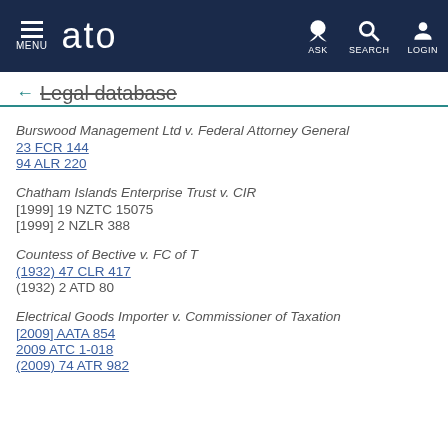MENU | ato | ASK | SEARCH | LOGIN
Legal database
Burswood Management Ltd v. Federal Attorney General
23 FCR 144
94 ALR 220
Chatham Islands Enterprise Trust v. CIR
[1999] 19 NZTC 15075
[1999] 2 NZLR 388
Countess of Bective v. FC of T
(1932) 47 CLR 417
(1932) 2 ATD 80
Electrical Goods Importer v. Commissioner of Taxation
[2009] AATA 854
2009 ATC 1-018
(2009) 74 ATR 982